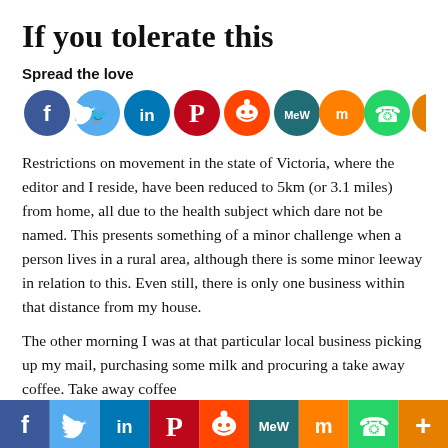If you tolerate this
Spread the love
[Figure (infographic): Row of social media share buttons: Facebook, Twitter, LinkedIn, Pinterest, Reddit, MeWe, Mix, WhatsApp, More]
Restrictions on movement in the state of Victoria, where the editor and I reside, have been reduced to 5km (or 3.1 miles) from home, all due to the health subject which dare not be named. This presents something of a minor challenge when a person lives in a rural area, although there is some minor leeway in relation to this. Even still, there is only one business within that distance from my house.
The other morning I was at that particular local business picking up my mail, purchasing some milk and procuring a take away coffee. Take away coffee is a highlight on the dark side of lockup, isn't it. But in
[Figure (infographic): Footer bar with social media share buttons: Facebook (blue), Twitter (light blue), LinkedIn (dark blue), Pinterest (red), Reddit (orange-red), MeWe (teal), Mix (orange), WhatsApp (green), More (orange)]